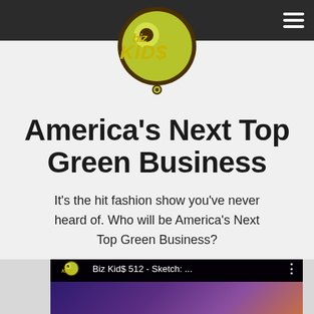Biz Kid$ navigation bar with hamburger menu
[Figure (logo): Biz Kid$ logo — stylized text 'biz KID$' with yellow-green and brown circular bubble graphic]
America's Next Top Green Business
It's the hit fashion show you've never heard of. Who will be America's Next Top Green Business?
[Figure (screenshot): Video thumbnail showing Biz Kid$ 512 - Sketch: ... with the Biz Kid$ logo icon, video title, and three-dot menu. Purple/dark background with partial image of a person below.]